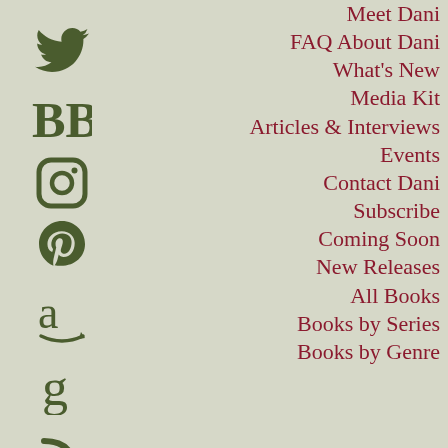Meet Dani
FAQ About Dani
What's New
Media Kit
Articles & Interviews
Events
Contact Dani
Subscribe
Coming Soon
New Releases
All Books
Books by Series
Books by Genre
[Figure (illustration): Social media icons column on left side: Twitter bird icon, BB (BookBub) text icon, Instagram camera circle icon, Pinterest P icon, Amazon 'a' with arrow icon, Goodreads 'g' icon, RSS feed icon — all in dark olive green color]